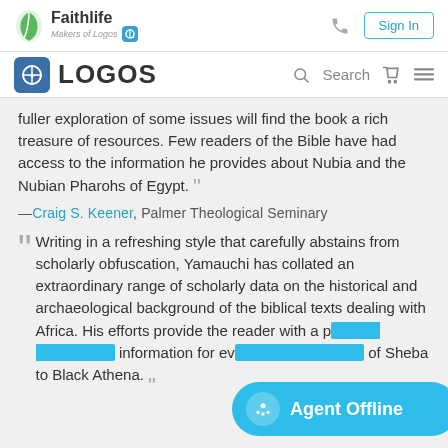Faithlife — Makers of Logos | Sign In
LOGOS | Search
fuller exploration of some issues will find the book a rich treasure of resources. Few readers of the Bible have had access to the information he provides about Nubia and the Nubian Pharohs of Egypt.
—Craig S. Keener, Palmer Theological Seminary
Writing in a refreshing style that carefully abstains from scholarly obfuscation, Yamauchi has collated an extraordinary range of scholarly data on the historical and archaeological background of the biblical texts dealing with Africa. His efforts provide the reader with a p... information for ev... of Sheba to Black Athena.